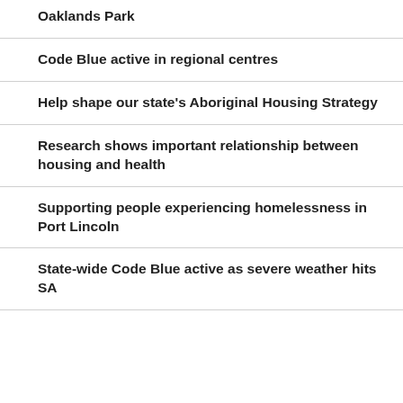Oaklands Park
Code Blue active in regional centres
Help shape our state's Aboriginal Housing Strategy
Research shows important relationship between housing and health
Supporting people experiencing homelessness in Port Lincoln
State-wide Code Blue active as severe weather hits SA